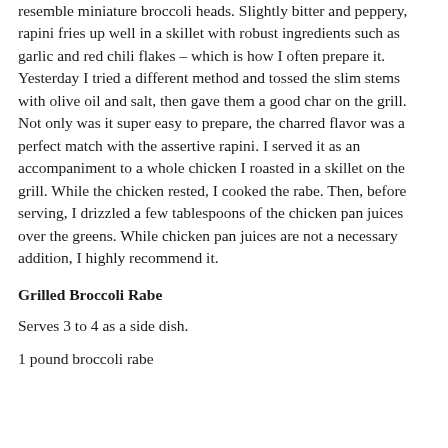resemble miniature broccoli heads. Slightly bitter and peppery, rapini fries up well in a skillet with robust ingredients such as garlic and red chili flakes – which is how I often prepare it. Yesterday I tried a different method and tossed the slim stems with olive oil and salt, then gave them a good char on the grill. Not only was it super easy to prepare, the charred flavor was a perfect match with the assertive rapini. I served it as an accompaniment to a whole chicken I roasted in a skillet on the grill. While the chicken rested, I cooked the rabe. Then, before serving, I drizzled a few tablespoons of the chicken pan juices over the greens. While chicken pan juices are not a necessary addition, I highly recommend it.
Grilled Broccoli Rabe
Serves 3 to 4 as a side dish.
1 pound broccoli rabe